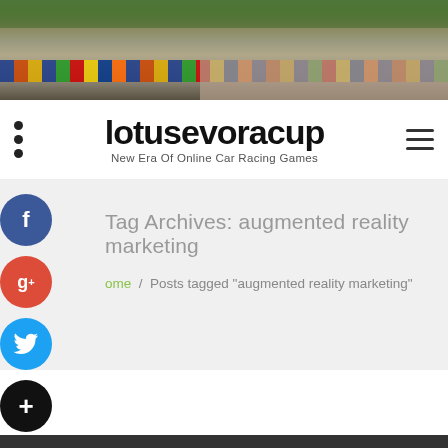[Figure (photo): Aerial/wide view of a motorsport racing event with cars lined up on a track and spectators]
lotusevoracup — New Era Of Online Car Racing Games
Tag Archives: augmented reality marketing
Home / Posts tagged "augmented reality marketing"